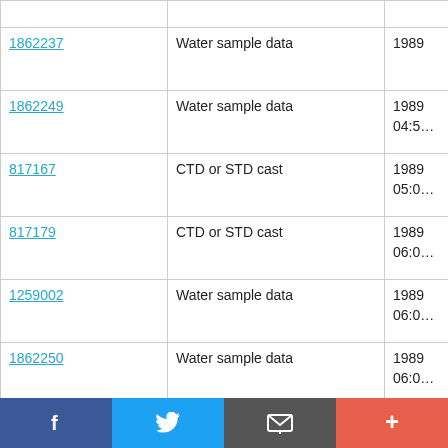| ID | Type | Date |
| --- | --- | --- |
| 1862237 | Water sample data | 1989 |
| 1862249 | Water sample data | 1989 04:5… |
| 817167 | CTD or STD cast | 1989 05:0… |
| 817179 | CTD or STD cast | 1989 06:0… |
| 1259002 | Water sample data | 1989 06:0… |
| 1862250 | Water sample data | 1989 06:0… |
| 817180 | CTD or STD cast | 1989 |